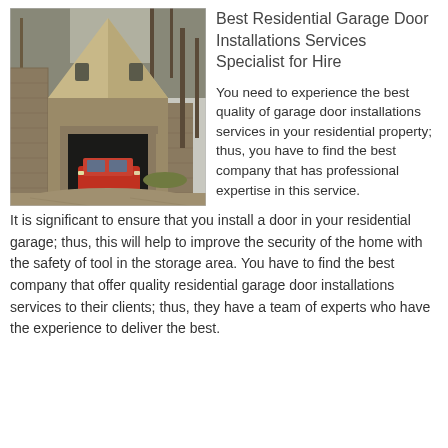[Figure (photo): A stone and wooden barn/garage building with a pointed roof, surrounded by bare trees. A red car is parked inside the open garage. A gravel driveway leads up to the structure.]
Best Residential Garage Door Installations Services Specialist for Hire
You need to experience the best quality of garage door installations services in your residential property; thus, you have to find the best company that has professional expertise in this service. It is significant to ensure that you install a door in your residential garage; thus, this will help to improve the security of the home with the safety of tool in the storage area. You have to find the best company that offer quality residential garage door installations services to their clients; thus, they have a team of experts who have the experience to deliver the best.